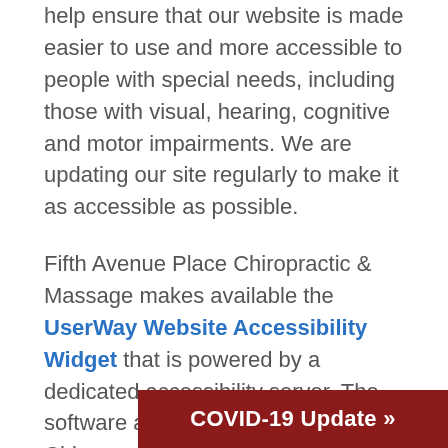help ensure that our website is made easier to use and more accessible to people with special needs, including those with visual, hearing, cognitive and motor impairments. We are updating our site regularly to make it as accessible as possible.
Fifth Avenue Place Chiropractic & Massage makes available the UserWay Website Accessibility Widget that is powered by a dedicated accessibility server. The software allows Fifth Avenue Place Chiropractic & Massage to improve its compliance with the Web Content Accessibility G...
Our team also uses t...
[Figure (other): COVID-19 Update button/banner in dark red with white text reading 'COVID-19 Update »']